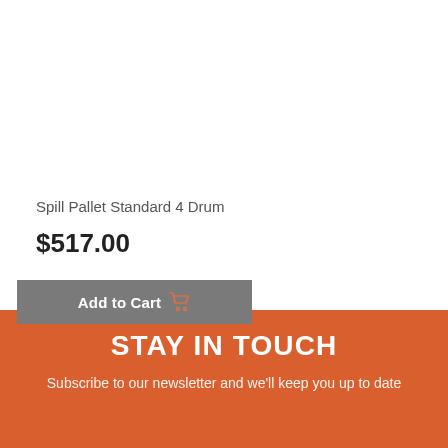Spill Pallet Standard 4 Drum
$517.00
Add to Cart
STAY IN TOUCH
Subscribe to our newsletter and we'll keep you up to date